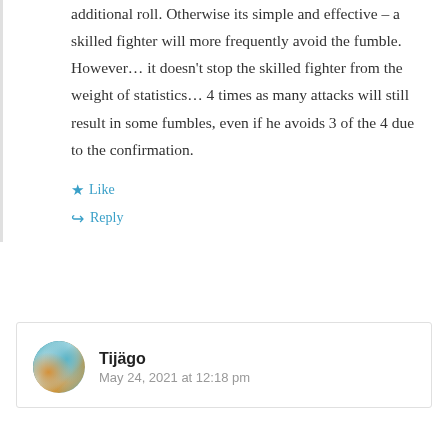additional roll. Otherwise its simple and effective – a skilled fighter will more frequently avoid the fumble. However… it doesn't stop the skilled fighter from the weight of statistics… 4 times as many attacks will still result in some fumbles, even if he avoids 3 of the 4 due to the confirmation.
Like
Reply
Tijägo
May 24, 2021 at 12:18 pm